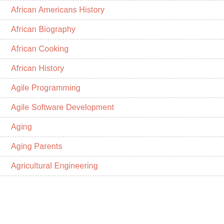African Americans History
African Biography
African Cooking
African History
Agile Programming
Agile Software Development
Aging
Aging Parents
Agricultural Engineering